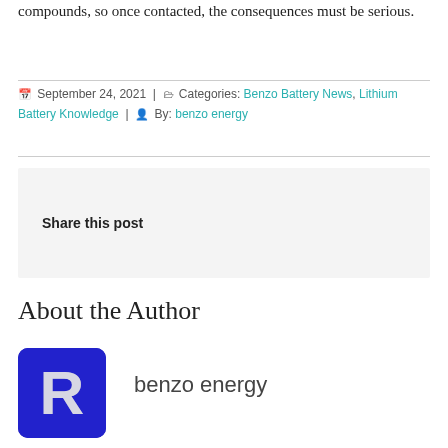compounds, so once contacted, the consequences must be serious.
September 24, 2021 | Categories: Benzo Battery News, Lithium Battery Knowledge | By: benzo energy
Share this post
About the Author
[Figure (logo): Benzo energy company logo: blue rounded rectangle with stylized white/silver letter R]
benzo energy